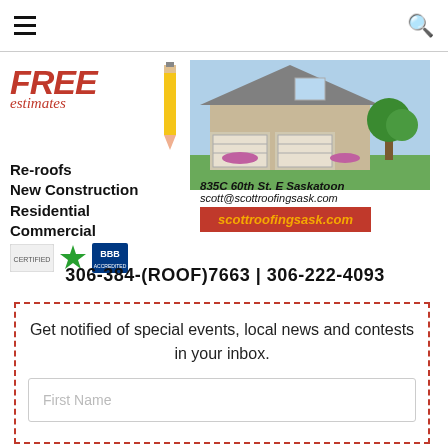Navigation menu and search icon
[Figure (illustration): Scott Roofing advertisement with FREE estimates, house photo, services list, contact info, logos, and phone numbers]
Get notified of special events, local news and contests in your inbox.
First Name